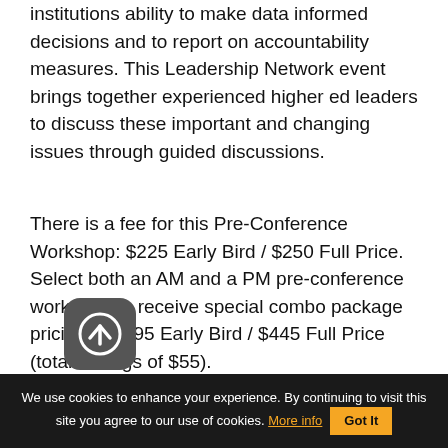institutions ability to make data informed decisions and to report on accountability measures. This Leadership Network event brings together experienced higher ed leaders to discuss these important and changing issues through guided discussions.
There is a fee for this Pre-Conference Workshop: $225 Early Bird / $250 Full Price. Select both an AM and a PM pre-conference workshop to receive special combo package pricing of $395 Early Bird / $445 Full Price (total savings of $55).
ADD TO MY REGISTRATION
We use cookies to enhance your experience. By continuing to visit this site you agree to our use of cookies. More info Got It